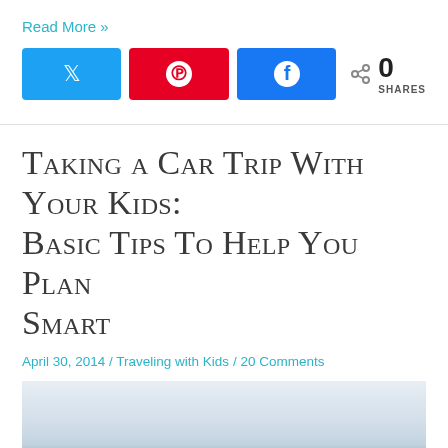Read More »
[Figure (infographic): Social share buttons: Twitter (blue), Pinterest (red), Facebook (blue), with share count showing 0 SHARES]
Taking a Car Trip With Your Kids: Basic Tips To Help You Plan Smart
April 30, 2014 / Traveling with Kids / 20 Comments
[Figure (photo): Scenic landscape photo showing rolling mountains with trees in the foreground and a pale sky above]